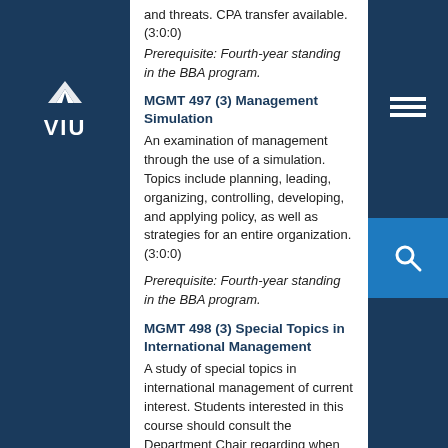and threats. CPA transfer available. (3:0:0)
Prerequisite: Fourth-year standing in the BBA program.
MGMT 497 (3) Management Simulation
An examination of management through the use of a simulation. Topics include planning, leading, organizing, controlling, developing, and applying policy, as well as strategies for an entire organization. (3:0:0)
Prerequisite: Fourth-year standing in the BBA program.
MGMT 498 (3) Special Topics in International Management
A study of special topics in international management of current interest. Students interested in this course should consult the Department Chair regarding when this course is to be offered and what substantive areas are to be studied. (3:0:0)